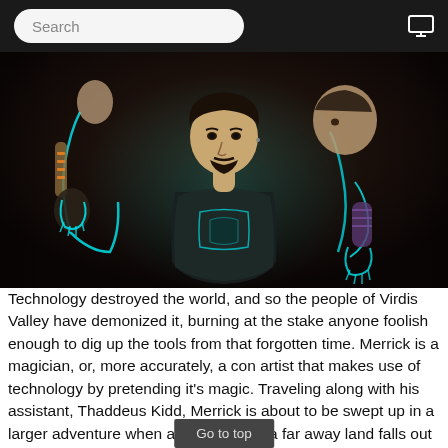Search
[Figure (illustration): Video game artwork showing a male character with a goatee and dark hair in center focus, with glowing cyan energy outlines around two additional figures beside him. The central figure has a mechanical/cyberpunk arm. Dark background.]
Technology destroyed the world, and so the people of Virdis Valley have demonized it, burning at the stake anyone foolish enough to dig up the tools from that forgotten time. Merrick is a magician, or, more accurately, a con artist that makes use of technology by pretending it's magic. Traveling along with his assistant, Thaddeus Kidd, Merrick is about to be swept up in a larger adventure when a woman from a far away land falls out of the sky and into his life.